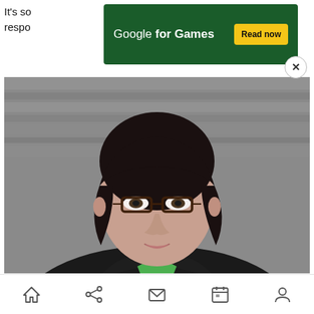It's so respo...
[Figure (screenshot): Advertisement banner: Google for Games with dark green background, white text 'Google for Games', and a yellow 'Read now' button. A circular close (X) button is shown at the bottom right of the banner.]
[Figure (photo): Portrait photo of a woman with short dark hair, wearing glasses (dark brown frames), a black blazer, and a green top. She is looking forward against a grey stone/concrete background.]
[Figure (screenshot): Mobile app navigation bar at the bottom with icons for: home, share, email/message, calendar, and profile/person.]